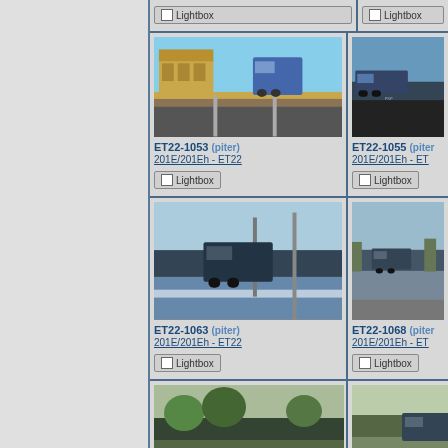[Figure (photo): ET22-1053 locomotive photo by piter, at station with yellow building]
ET22-1053 (piter)
201E/201Eh - ET22
[Figure (other): Lightbox checkbox button]
[Figure (photo): ET22-1055 locomotive photo by piter, partially visible]
ET22-1055 (piter)
201E/201Eh - ET
[Figure (other): Lightbox checkbox button]
[Figure (photo): ET22-1063 locomotive photo by piter, at platform]
ET22-1063 (piter)
201E/201Eh - ET22
[Figure (other): Lightbox checkbox button]
[Figure (photo): ET22-1068 locomotive photo by piter, partially visible]
ET22-1068 (piter)
201E/201Eh - ET
[Figure (other): Lightbox checkbox button]
[Figure (photo): Bottom row locomotive photo, partially visible]
[Figure (photo): Bottom row locomotive photo, partially visible right side]